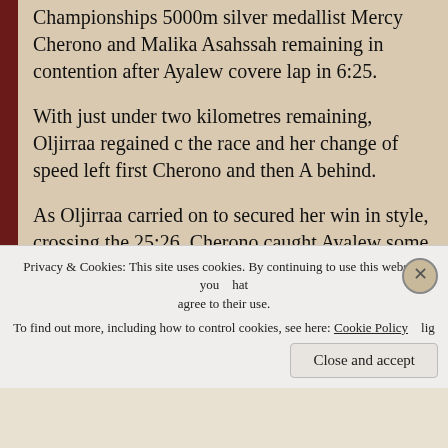Championships 5000m silver medallist Mercy Cherono and Malika Asahssah remaining in contention after Ayalew covered the lap in 6:25.
With just under two kilometres remaining, Oljirraa regained control of the race and her change of speed left first Cherono and then Asahssah behind.
As Oljirraa carried on to secured her win in style, crossing the line in 25:26, Cherono caught Ayalew some 200 metres out to finish a few seconds adrift the victor.
A fading Ayalew could not even keep her third place as she was passed by Asahssah in the closing 30 metres.
“I knew Atapuerca as I already had raced here three years ago…
Privacy & Cookies: This site uses cookies. By continuing to use this website, you agree to their use.
To find out more, including how to control cookies, see here: Cookie Policy
Close and accept